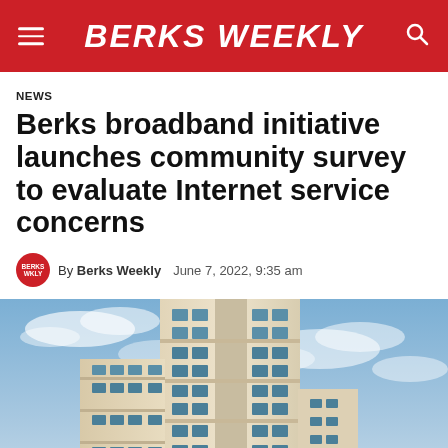BERKS WEEKLY
NEWS
Berks broadband initiative launches community survey to evaluate Internet service concerns
By Berks Weekly   June 7, 2022, 9:35 am
[Figure (photo): Looking up at a tall modern office/government building with glass windows and beige/cream facade against a cloudy blue sky.]